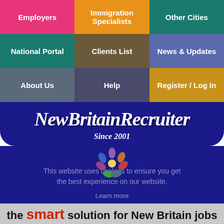[Figure (screenshot): Navigation grid with 9 colored tiles: Employers (pink), Immigration Specialists (orange), Other Cities (teal), National Portal (teal), Clients List (brown), News & Updates (blue), About Us (slate), Help (purple), Register/Log In (gold)]
NewBritainRecruiter Since 2001
This website uses cookies to ensure you get the best experience on our website.
Learn more
the smart solution for New Britain jobs
Got it!